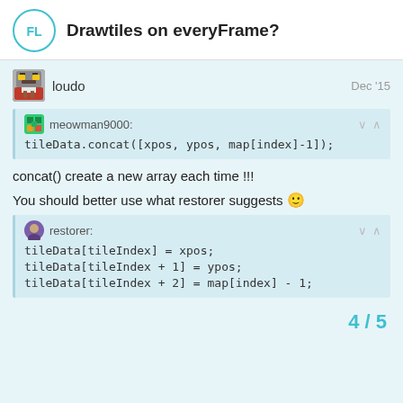Drawtiles on everyFrame?
loudo   Dec '15
meowman9000:
tileData.concat([xpos, ypos, map[index]-1]);
concat() create a new array each time !!!
You should better use what restorer suggests 🙂
restorer:
tileData[tileIndex] = xpos;
tileData[tileIndex + 1] = ypos;
tileData[tileIndex + 2] = map[index] - 1;
4 / 5